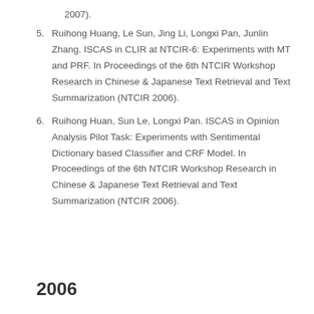2007).
5. Ruihong Huang, Le Sun, Jing Li, Longxi Pan, Junlin Zhang. ISCAS in CLIR at NTCIR-6: Experiments with MT and PRF. In Proceedings of the 6th NTCIR Workshop Research in Chinese & Japanese Text Retrieval and Text Summarization (NTCIR 2006).
6. Ruihong Huan, Sun Le, Longxi Pan. ISCAS in Opinion Analysis Pilot Task: Experiments with Sentimental Dictionary based Classifier and CRF Model. In Proceedings of the 6th NTCIR Workshop Research in Chinese & Japanese Text Retrieval and Text Summarization (NTCIR 2006).
2006